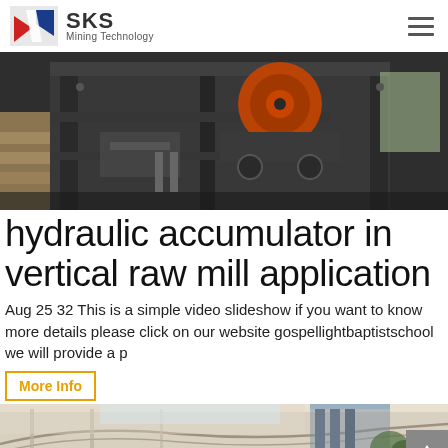SKS Mining Technology
[Figure (photo): Industrial mining machine with dark metal frame and orange circular component, photographed in a workshop/warehouse setting.]
hydraulic accumulator in vertical raw mill application
Aug 25 32 This is a simple video slideshow if you want to know more details please click on our website gospellightbaptistschool we will provide a p
More Info
[Figure (photo): Interior architectural photo showing a modern building atrium with curved staircase railing and open space.]